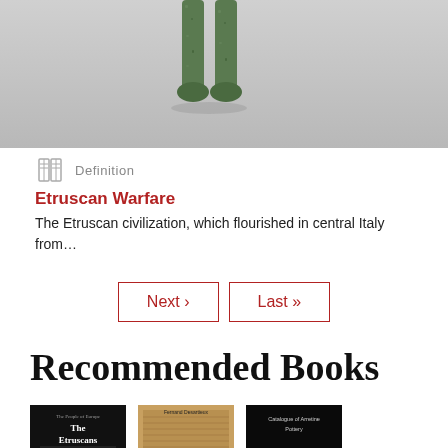[Figure (photo): Partial view of an ancient Etruscan bronze figurine showing legs and feet on a grey background]
Definition
Etruscan Warfare
The Etruscan civilization, which flourished in central Italy from…
Next ›
Last »
Recommended Books
[Figure (photo): Book cover: The Etruscans - The People of Europe series, black background with white text]
[Figure (photo): Book cover: La Cité de la femme by Fernand Desartieux, brownish/tan tones]
[Figure (photo): Book cover: Catalogue of Arretine Pottery, black background with white text]